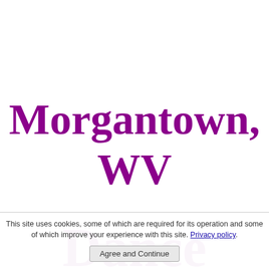Morgantown, WV Dance
This site uses cookies, some of which are required for its operation and some of which improve your experience with this site. Privacy policy. Agree and Continue